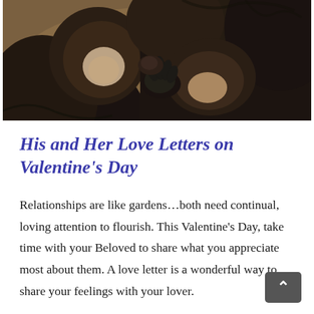[Figure (photo): Close-up photo of two primates (chimpanzees or similar apes) in a grooming/affectionate pose, one kissing the other's hand, dark fur, warm bokeh background]
His and Her Love Letters on Valentine's Day
Relationships are like gardens…both need continual, loving attention to flourish. This Valentine's Day, take time with your Beloved to share what you appreciate most about them. A love letter is a wonderful way to share your feelings with your lover.